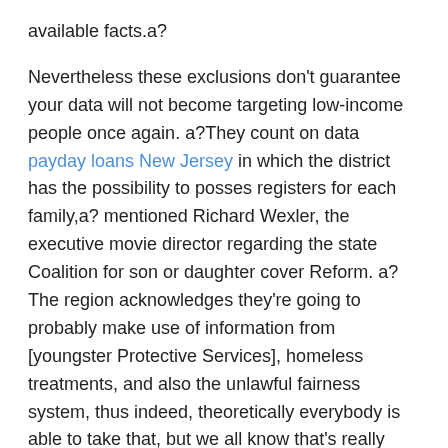available facts.a?
Nevertheless these exclusions don't guarantee your data will not become targeting low-income people once again. a?They count on data payday loans New Jersey in which the district has the possibility to posses registers for each family,a? mentioned Richard Wexler, the executive movie director regarding the state Coalition for son or daughter cover Reform. a?The region acknowledges they're going to probably make use of information from [youngster Protective Services], homeless treatments, and also the unlawful fairness system, thus indeed, theoretically everybody is able to take that, but we all know that's really gonna be with it.a?
A synopsis supplied by the district online cites a? birth records, youngsters benefit documents